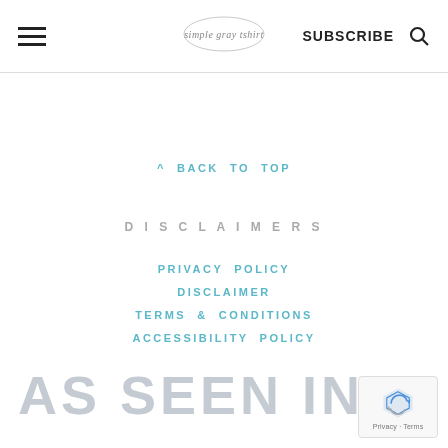simple gray tshirt | SUBSCRIBE
^ BACK TO TOP
DISCLAIMERS
PRIVACY POLICY
DISCLAIMER
TERMS & CONDITIONS
ACCESSIBILITY POLICY
AS SEEN IN....